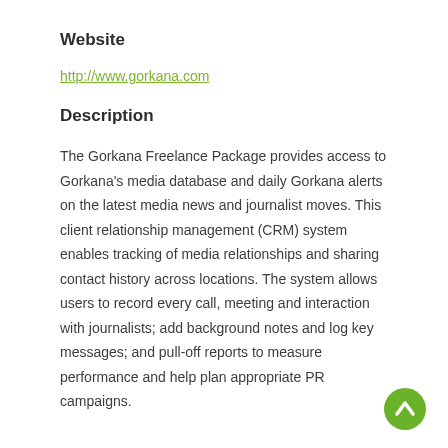Website
http://www.gorkana.com
Description
The Gorkana Freelance Package provides access to Gorkana's media database and daily Gorkana alerts on the latest media news and journalist moves. This client relationship management (CRM) system enables tracking of media relationships and sharing contact history across locations. The system allows users to record every call, meeting and interaction with journalists; add background notes and log key messages; and pull-off reports to measure performance and help plan appropriate PR campaigns.
[Figure (illustration): Green circular back-to-top button with a white upward-pointing chevron arrow]